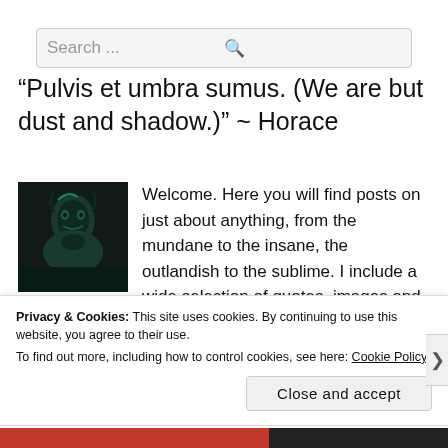[Figure (screenshot): Search bar with placeholder text 'Search ...' and a magnifying glass icon on the right]
“Pulvis et umbra sumus. (We are but dust and shadow.)” ~ Horace
Welcome. Here you will find posts on just about anything, from the mundane to the insane, the outlandish to the sublime. I include a wide selection of quotes, images and music in most of my posts. If I am unable to present new content, I rely on that old favorite—the reblog. Be forewarned: I am a left-leaning, liberal, feminist
Privacy & Cookies: This site uses cookies. By continuing to use this website, you agree to their use.
To find out more, including how to control cookies, see here: Cookie Policy
Close and accept